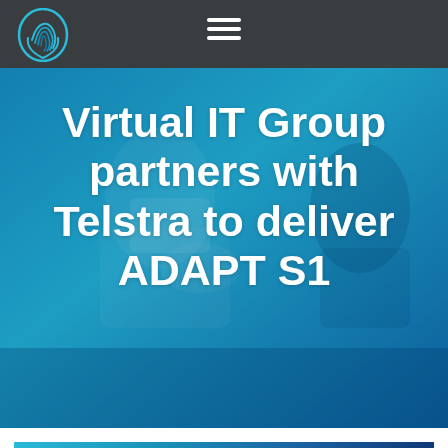[Figure (logo): Virtual IT Group fingerprint logo icon in teal/blue colors on dark gray navigation bar]
[Figure (illustration): Hamburger menu icon (three horizontal white lines) centered in dark gray navigation bar]
[Figure (photo): Hero banner with blue/teal overlay showing a person using a tablet or phone in background. Contains large white bold text headline.]
Virtual IT Group partners with Telstra to deliver ADAPT S1
[Figure (photo): Partial bottom strip showing the beginning of a teal/blue gradient image section]